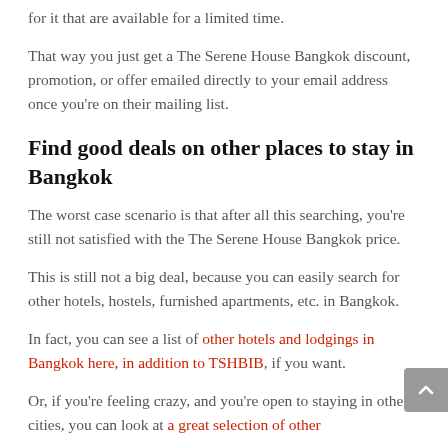for it that are available for a limited time.
That way you just get a The Serene House Bangkok discount, promotion, or offer emailed directly to your email address once you're on their mailing list.
Find good deals on other places to stay in Bangkok
The worst case scenario is that after all this searching, you're still not satisfied with the The Serene House Bangkok price.
This is still not a big deal, because you can easily search for other hotels, hostels, furnished apartments, etc. in Bangkok.
In fact, you can see a list of other hotels and lodgings in Bangkok here, in addition to TSHBIB, if you want.
Or, if you're feeling crazy, and you're open to staying in other cities, you can look at a great selection of other